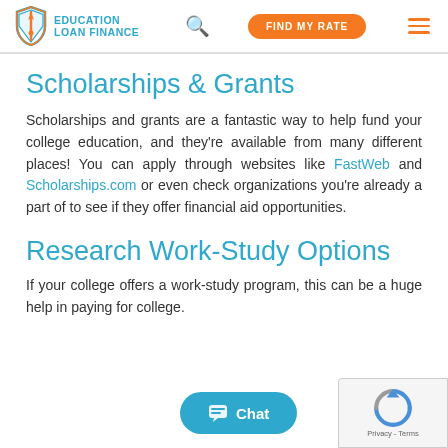EDUCATION LOAN FINANCE | FIND MY RATE
Scholarships & Grants
Scholarships and grants are a fantastic way to help fund your college education, and they're available from many different places! You can apply through websites like FastWeb and Scholarships.com or even check organizations you're already a part of to see if they offer financial aid opportunities.
Research Work-Study Options
If your college offers a work-study program, this can be a huge help in paying for college.